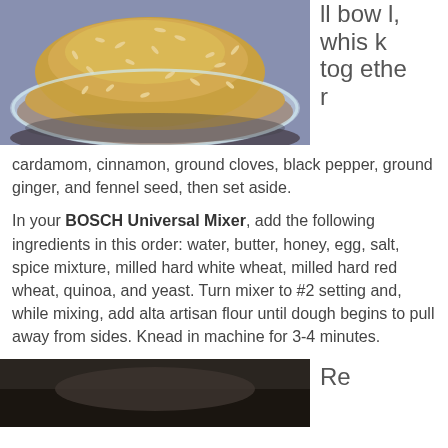[Figure (photo): A glass bowl filled with a golden-brown spice mixture with visible fennel seeds, photographed from above on a blue surface.]
ll bowl, whisk together
cardamom, cinnamon, ground cloves, black pepper, ground ginger, and fennel seed, then set aside.
In your BOSCH Universal Mixer, add the following ingredients in this order: water, butter, honey, egg, salt, spice mixture, milled hard white wheat, milled hard red wheat, quinoa, and yeast. Turn mixer to #2 setting and, while mixing, add alta artisan flour until dough begins to pull away from sides. Knead in machine for 3-4 minutes.
[Figure (photo): A dark photo of bread dough or baked bread in a pan.]
Re